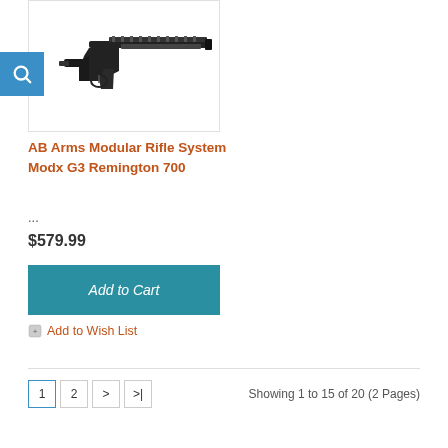[Figure (photo): AB Arms Modular Rifle System Modx G3 Remington 700 firearm product image on white background, with a teal/blue magnifying glass search icon badge in the upper-left corner]
AB Arms Modular Rifle System Modx G3 Remington 700
...
$579.99
Add to Cart
Add to Wish List
1  2  >  >|    Showing 1 to 15 of 20 (2 Pages)